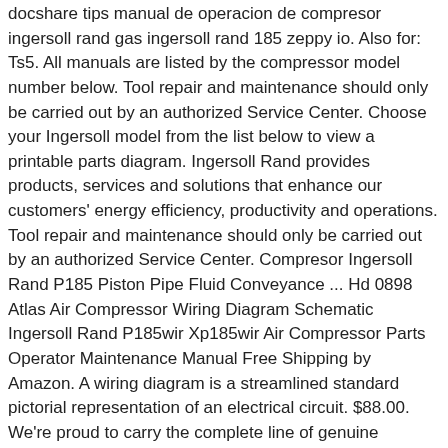docshare tips manual de operacion de compresor ingersoll rand gas ingersoll rand 185 zeppy io. Also for: Ts5. All manuals are listed by the compressor model number below. Tool repair and maintenance should only be carried out by an authorized Service Center. Choose your Ingersoll model from the list below to view a printable parts diagram. Ingersoll Rand provides products, services and solutions that enhance our customers' energy efficiency, productivity and operations. Tool repair and maintenance should only be carried out by an authorized Service Center. Compresor Ingersoll Rand P185 Piston Pipe Fluid Conveyance ... Hd 0898 Atlas Air Compressor Wiring Diagram Schematic Ingersoll Rand P185wir Xp185wir Air Compressor Parts Operator Maintenance Manual Free Shipping by Amazon. A wiring diagram is a streamlined standard pictorial representation of an electrical circuit. $88.00. We're proud to carry the complete line of genuine Ingersoll parts. CompressorParts.com sells compressor parts up ... Quality Ingersoll Rand Parts That You Can Count On: We are so confident that the quality of our products speak for life, and we are offering